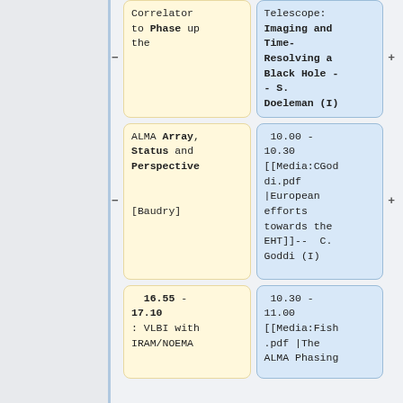Correlator to Phase up the
Telescope: Imaging and Time-Resolving a Black Hole -- S. Doeleman (I)
ALMA Array, Status and Perspective [Baudry]
10.00 - 10.30 [[Media:CGoddi.pdf |European efforts towards the EHT]]--  C. Goddi (I)
16.55 - 17.10 : VLBI with IRAM/NOEMA
10.30 - 11.00 [[Media:Fish.pdf |The ALMA Phasing